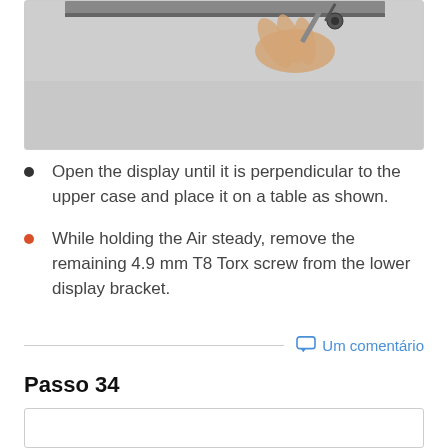[Figure (photo): Photo showing a hand using a screwdriver on the corner of a laptop display bracket]
Open the display until it is perpendicular to the upper case and place it on a table as shown.
While holding the Air steady, remove the remaining 4.9 mm T8 Torx screw from the lower display bracket.
Um comentário
Passo 34
[Figure (photo): Photo for step 34 (partially visible)]